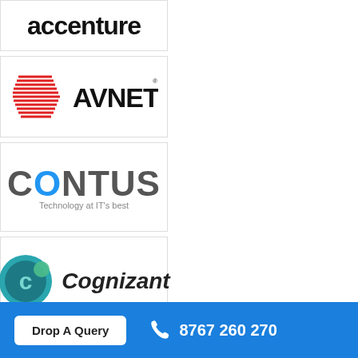[Figure (logo): Accenture logo (partial, top cropped)]
[Figure (logo): Avnet logo with red geometric shape and bold black AVNET text]
[Figure (logo): CONTUS logo with grey and blue lettering, tagline Technology at IT's best]
[Figure (logo): Cognizant logo with teal/blue C emblem and italic Cognizant text]
[Figure (logo): Partial logo at bottom, partially cut off by footer]
Drop A Query
8767 260 270